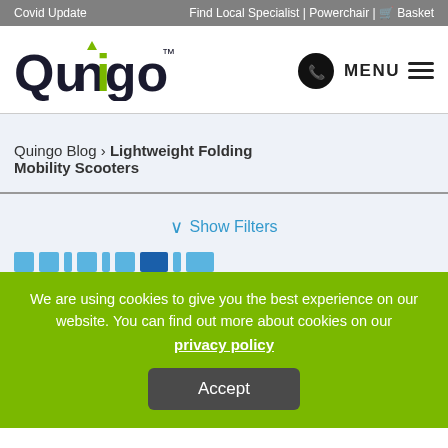Covid Update | Find Local Specialist | Powerchair | Basket
[Figure (logo): Quingo logo with green arrow above letter 'i' and trademark symbol]
MENU
Quingo Blog › Lightweight Folding Mobility Scooters
∨ Show Filters
We are using cookies to give you the best experience on our website. You can find out more about cookies on our privacy policy
Accept